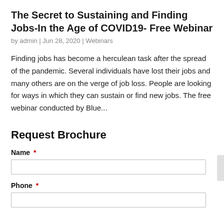The Secret to Sustaining and Finding Jobs-In the Age of COVID19- Free Webinar
by admin | Jun 28, 2020 | Webinars
Finding jobs has become a herculean task after the spread of the pandemic. Several individuals have lost their jobs and many others are on the verge of job loss. People are looking for ways in which they can sustain or find new jobs. The free webinar conducted by Blue...
Request Brochure
Name *
Phone *